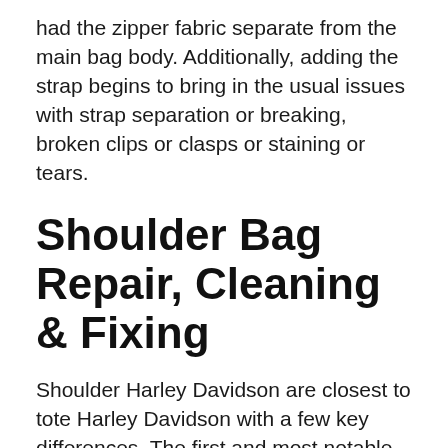had the zipper fabric separate from the main bag body. Additionally, adding the strap begins to bring in the usual issues with strap separation or breaking, broken clips or clasps or staining or tears.
Shoulder Bag Repair, Cleaning & Fixing
Shoulder Harley Davidson are closest to tote Harley Davidson with a few key differences. The first and most notable is that a shoulder bag only has a single shoulder strap instead of a tote bag that has 2 separate straps.